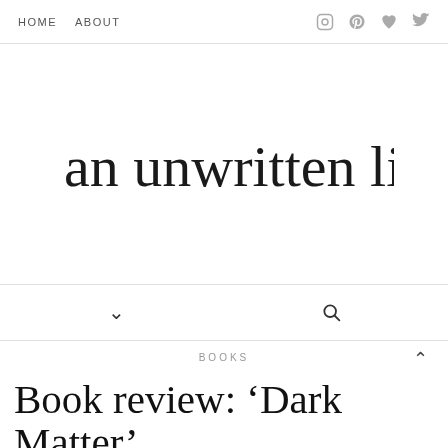HOME   ABOUT
[Figure (logo): Cursive script logo reading 'an unwritten life']
chevron down / search icon navigation bar
BOOKS
Book review: ‘Dark Matter’